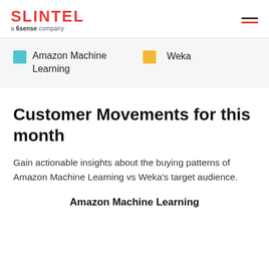SLINTEL a 6sense company
Amazon Machine Learning   Weka
Customer Movements for this month
Gain actionable insights about the buying patterns of Amazon Machine Learning vs Weka's target audience.
Amazon Machine Learning